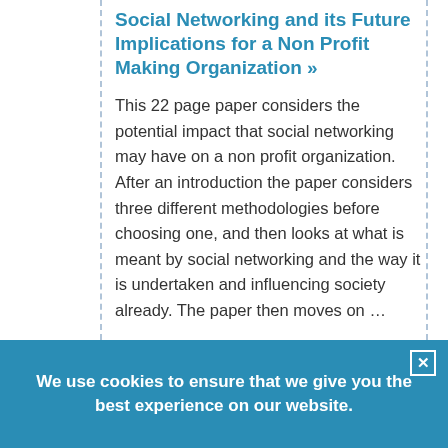Social Networking and its Future Implications for a Non Profit Making Organization »
This 22 page paper considers the potential impact that social networking may have on a non profit organization. After an introduction the paper considers three different methodologies before choosing one, and then looks at what is meant by social networking and the way it is undertaken and influencing society already. The paper then moves on …
Pages: 22
We use cookies to ensure that we give you the best experience on our website.